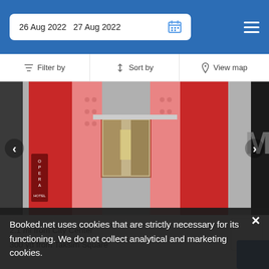26 Aug 2022  27 Aug 2022
Filter by   Sort by   View map
[Figure (photo): Hotel exterior photo showing a building facade with decorative white lattice panels lit with red neon lighting, a window with beige curtains, and a burgundy Opera Hotel sign on the left side.]
2.1 mi from City Center
300 yd from Taksim Square
Booked.net uses cookies that are strictly necessary for its functioning. We do not collect analytical and marketing cookies.
from US$ 103 /night